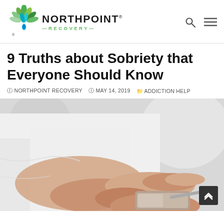[Figure (logo): Northpoint Recovery logo with green leaf/flower emblem and text NORTHPOINT RECOVERY]
9 Truths about Sobriety that Everyone Should Know
NORTHPOINT RECOVERY  MAY 14, 2019  ADDICTION HELP
[Figure (photo): Close-up of a person in a white shirt using a smartphone/tablet, hands visible tapping a device]